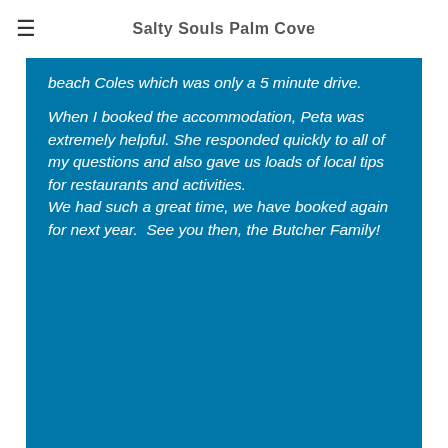Salty Souls Palm Cove
beach Coles which was only a 5 minute drive.

When I booked the accommodation, Peta was extremely helpful. She responded quickly to all of my questions and also gave us loads of local tips for restaurants and activities.
We had such a great time, we have booked again for next year.  See you then, the Butcher Family!